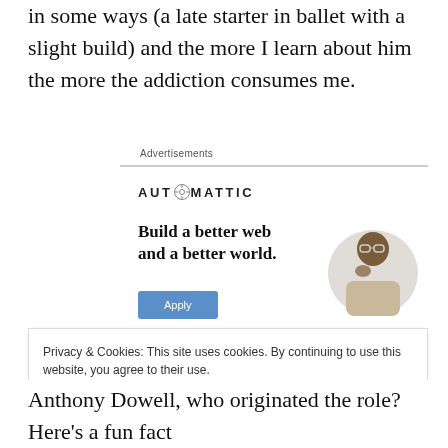in some ways (a late starter in ballet with a slight build) and the more I learn about him the more the addiction consumes me.
Advertisements
[Figure (logo): Automattic logo with compass icon]
[Figure (infographic): Automattic job ad: 'Build a better web and a better world.' with an Apply button and a photo of a man thinking]
Privacy & Cookies: This site uses cookies. By continuing to use this website, you agree to their use.
To find out more, including how to control cookies, see here: Cookie Policy
Close and accept
Anthony Dowell, who originated the role? Here's a fun fact